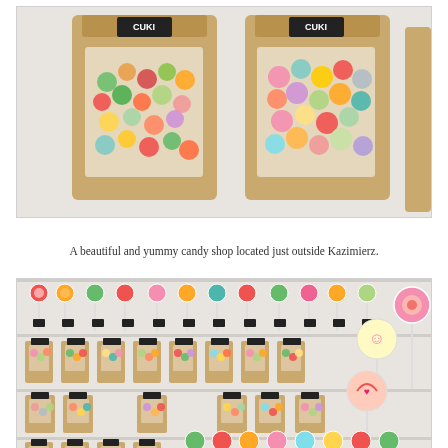[Figure (photo): Two brown kraft paper stand-up bags filled with colorful cylindrical hard candies, displayed on a white surface. Both bags have a black label with 'CUKI' branding. The left bag shows assorted green, orange, red, and multicolored candies. The right bag shows similar assorted candies in pink, orange, yellow, and dark colors.]
A beautiful and yummy candy shop located just outside Kazimierz.
[Figure (photo): Interior display shelves of a candy shop showing rows of colorful lollipops on sticks in the top row, and multiple small kraft paper bags filled with assorted candies arranged in rows below. Bags have small black price/label tags. Large decorative lollipops are visible on the right side. The display has 4-5 rows of products on white shelving.]